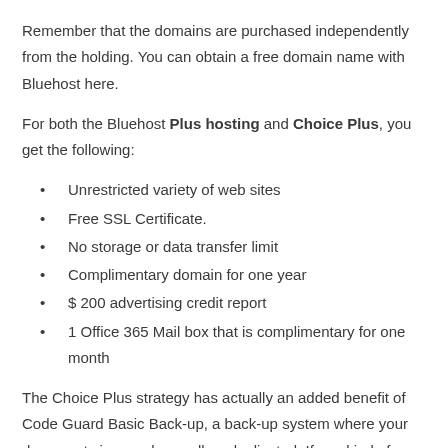Remember that the domains are purchased independently from the holding. You can obtain a free domain name with Bluehost here.
For both the Bluehost Plus hosting and Choice Plus, you get the following:
Unrestricted variety of web sites
Free SSL Certificate.
No storage or data transfer limit
Complimentary domain for one year
$ 200 advertising credit report
1 Office 365 Mail box that is complimentary for one month
The Choice Plus strategy has actually an added benefit of Code Guard Basic Back-up, a back-up system where your documents is saved as well as duplicated. If any kind of accident happens and also your site information vanishes, you can recover it to its initial